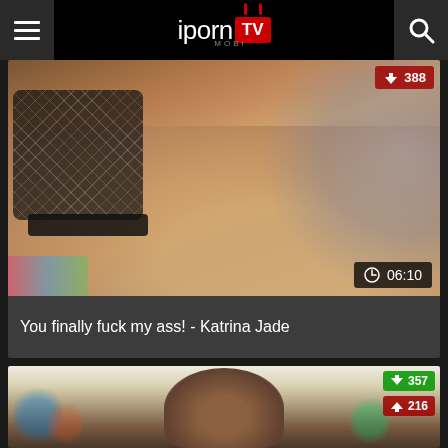[Figure (screenshot): Website header with hamburger menu, iPornTV Mobi logo, and search icon on black background]
[Figure (photo): Video thumbnail showing adult content - woman in fishnet top with tattoos, dislike count badge showing 388, duration badge showing 06:10]
You finally fuck my ass! - Katrina Jade
[Figure (photo): Second video thumbnail showing adult content - woman in fishnet bodysuit in colorful setting with umbrella decorations, like count 357 and dislike count 216]